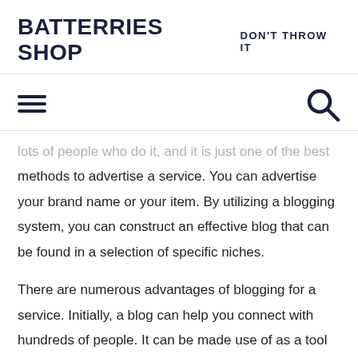BATTERRIES SHOP  DON'T THROW IT
[Figure (other): Navigation bar with hamburger menu icon on the left and search/magnifying glass icon on the right]
lots of people who do it, and it is just one of the best methods to advertise a service. You can advertise your brand name or your item. By utilizing a blogging system, you can construct an effective blog that can be found in a selection of specific niches.
There are numerous advantages of blogging for a service. Initially, a blog can help you connect with hundreds of people. It can be made use of as a tool for networking or sharing information. It can also aid you develop count on with the target market. If you are an experienced business